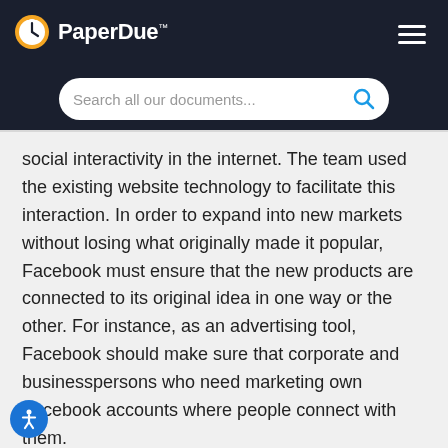PaperDue™ — Search all our documents...
social interactivity in the internet. The team used the existing website technology to facilitate this interaction. In order to expand into new markets without losing what originally made it popular, Facebook must ensure that the new products are connected to its original idea in one way or the other. For instance, as an advertising tool, Facebook should make sure that corporate and businesspersons who need marketing own Facebook accounts where people connect with them.